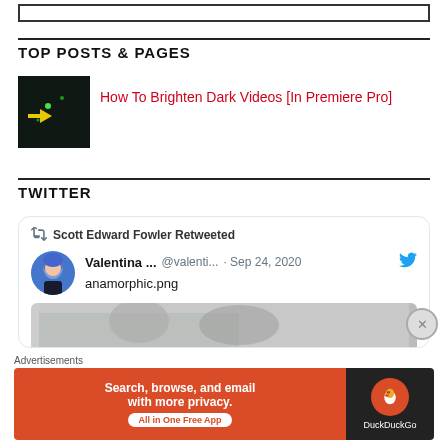TOP POSTS & PAGES
How To Brighten Dark Videos [In Premiere Pro]
TWITTER
Scott Edward Fowler Retweeted
Valentina ... @valenti... · Sep 24, 2020
anamorphic.png
[Figure (screenshot): Partially visible tweet image showing people]
Advertisements
[Figure (infographic): DuckDuckGo advertisement banner: Search, browse, and email with more privacy. All in One Free App]